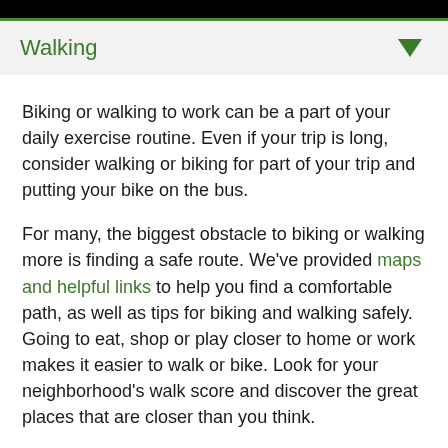Walking
Biking or walking to work can be a part of your daily exercise routine. Even if your trip is long, consider walking or biking for part of your trip and putting your bike on the bus.
For many, the biggest obstacle to biking or walking more is finding a safe route. We've provided maps and helpful links to help you find a comfortable path, as well as tips for biking and walking safely. Going to eat, shop or play closer to home or work makes it easier to walk or bike. Look for your neighborhood's walk score and discover the great places that are closer than you think.